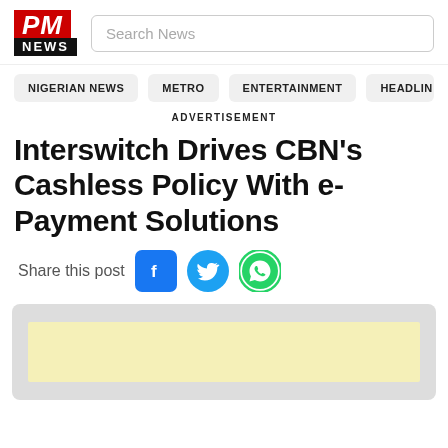PM NEWS
ADVERTISEMENT
Interswitch Drives CBN’s Cashless Policy With e-Payment Solutions
Share this post
[Figure (other): Advertisement placeholder block with light yellow inner rectangle on grey background]